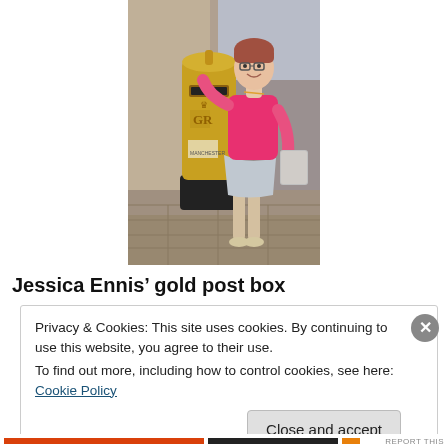[Figure (photo): A woman in a pink t-shirt and light blue skirt stands next to a gold-painted British post box (pillar box) with GR markings on a city street with stone paving. She has short hair and glasses, is smiling, and carries a patterned bag.]
Jessica Ennis’ gold post box
Privacy & Cookies: This site uses cookies. By continuing to use this website, you agree to their use.
To find out more, including how to control cookies, see here: Cookie Policy
Close and accept